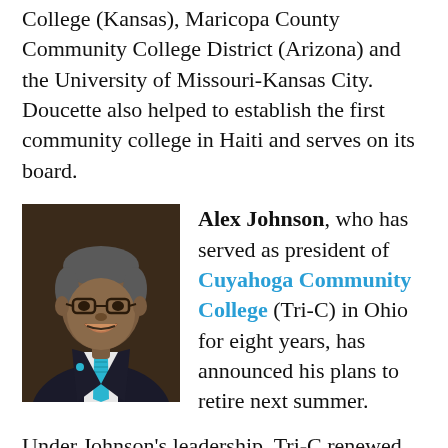College (Kansas), Maricopa County Community College District (Arizona) and the University of Missouri-Kansas City. Doucette also helped to establish the first community college in Haiti and serves on its board.
[Figure (photo): Headshot photo of Alex Johnson, an older African American man wearing glasses, a dark pinstriped suit, white shirt, and teal/blue tie, smiling against a dark background.]
Alex Johnson, who has served as president of Cuyahoga Community College (Tri-C) in Ohio for eight years, has announced his plans to retire next summer.
Under Johnson's leadership, Tri-C renewed its commitment to providing educational access throughout northeast Ohio. He oversaw an era of increasing graduation rates and numbers at the college, the result of new investments in workforce training, capital improvements and